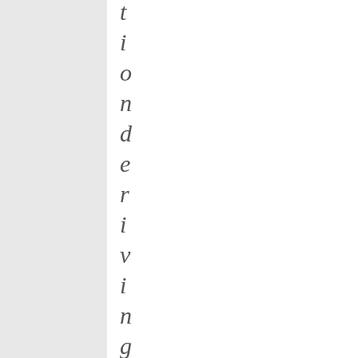[Figure (other): Gray rectangular panel on the left side of the page]
t i o n d e r i v i n g f